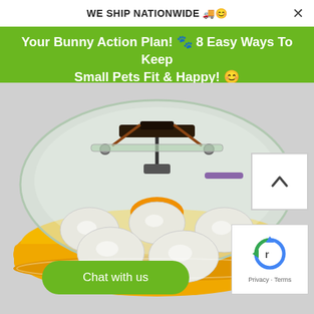WE SHIP NATIONWIDE 🚚😊
Your Bunny Action Plan! 🐾 8 Easy Ways To Keep Small Pets Fit & Happy! 😊
[Figure (photo): Egg incubator with clear dome lid and orange/yellow base tray holding several white eggs. Mechanical turning mechanism visible inside the transparent dome.]
Chat with us
[Figure (other): Scroll up chevron button (white background with upward caret arrow)]
[Figure (other): reCAPTCHA badge showing Google reCAPTCHA logo with Privacy and Terms text]